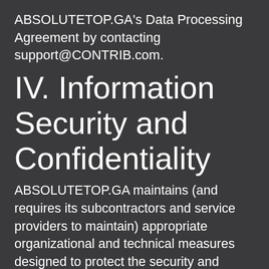ABSOLUTETOP.GA's Data Processing Agreement by contacting support@CONTRIB.com.
IV. Information Security and Confidentiality
ABSOLUTETOP.GA maintains (and requires its subcontractors and service providers to maintain) appropriate organizational and technical measures designed to protect the security and confidentiality of any information We